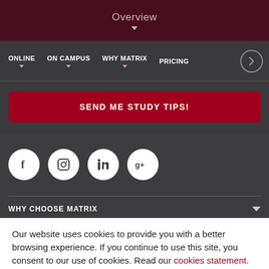Overview
ONLINE  ON CAMPUS  WHY MATRIX  PRICING
SEND ME STUDY TIPS!
[Figure (other): Social media icons: Facebook, Instagram, LinkedIn, Google+]
WHY CHOOSE MATRIX
Our website uses cookies to provide you with a better browsing experience. If you continue to use this site, you consent to our use of cookies. Read our cookies statement.
OK, I UNDERSTAND